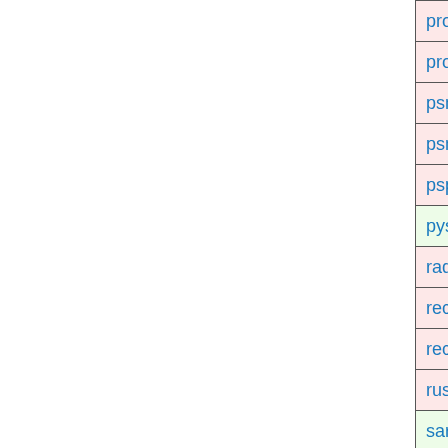| Package | Version | Status |
| --- | --- | --- |
| procps-ng | 3.3.17rc1 |  |
| procps-ng-man | 3.3.17rc1 |  |
| psmisc | 23.5rc1 |  |
| psmisc-man | 23.5rc1 |  |
| pspp | 1.6.0 |  |
| pyspread | 1.1 |  |
| radius | 1.6.1 |  |
| recode | 3.7.1 |  |
| recutils | 1.8 |  |
| rush | 2.2 |  |
| sarg | 2.4.0 |  |
| savane | 3.9 |  |
| sed | 4.7.13 |  |
| sharutils | 4.15.2 |  |
| shepherd | 0.9.0rc1 |  |
| shishi | 1.0.2 |  |